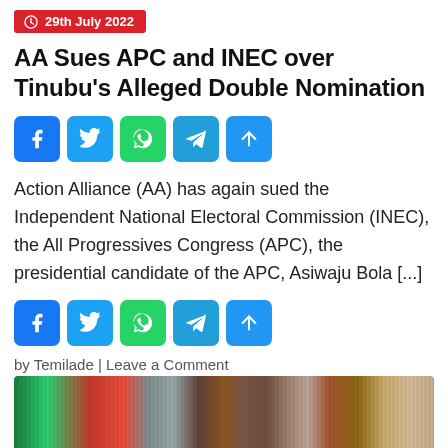29th July 2022
AA Sues APC and INEC over Tinubu's Alleged Double Nomination
[Figure (infographic): Social media share buttons: Facebook, Twitter, WhatsApp, Telegram, Share (top set)]
Action Alliance (AA) has again sued the Independent National Electoral Commission (INEC), the All Progressives Congress (APC), the presidential candidate of the APC, Asiwaju Bola [...]
[Figure (infographic): Social media share buttons: Facebook, Twitter, WhatsApp, Telegram, Share (bottom set)]
by Temilade | Leave a Comment
[Figure (photo): Partial photo of colorful woven fabric or textile]